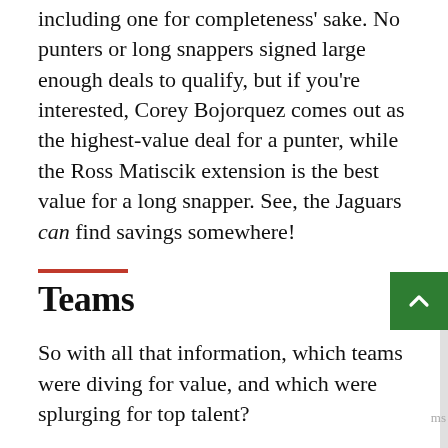including one for completeness' sake. No punters or long snappers signed large enough deals to qualify, but if you're interested, Corey Bojorquez comes out as the highest-value deal for a punter, while the Ross Matiscik extension is the best value for a long snapper. See, the Jaguars can find savings somewhere!
Teams
So with all that information, which teams were diving for value, and which were splurging for top talent?
This may not come as a shock, but the Jaguars offseason was not one designed to get maximum value out of every last red cent. Jacksonville handed out 15 contracts this free agency above the